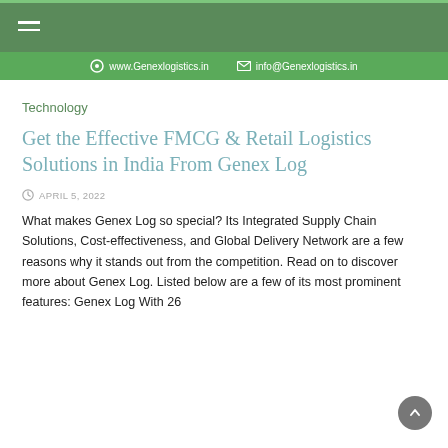www.Genexlogistics.in   info@Genexlogistics.in
Technology
Get the Effective FMCG & Retail Logistics Solutions in India From Genex Log
APRIL 5, 2022
What makes Genex Log so special? Its Integrated Supply Chain Solutions, Cost-effectiveness, and Global Delivery Network are a few reasons why it stands out from the competition. Read on to discover more about Genex Log. Listed below are a few of its most prominent features: Genex Log With 26